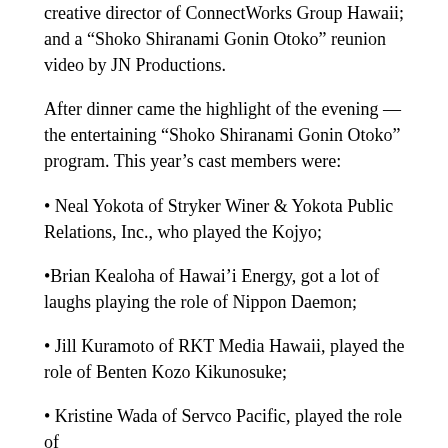creative director of ConnectWorks Group Hawaii; and a “Shoko Shiranami Gonin Otoko” reunion video by JN Productions.
After dinner came the highlight of the evening — the entertaining “Shoko Shiranami Gonin Otoko” program. This year’s cast members were:
• Neal Yokota of Stryker Winer & Yokota Public Relations, Inc., who played the Kojyo;
•Brian Kealoha of Hawai’i Energy, got a lot of laughs playing the role of Nippon Daemon;
• Jill Kuramoto of RKT Media Hawaii, played the role of Benten Kozo Kikunosuke;
• Kristine Wada of Servco Pacific, played the role of